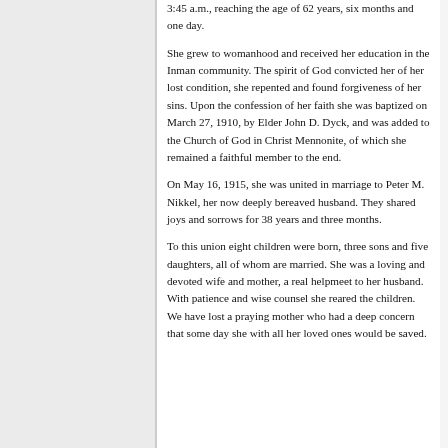3:45 a.m., reaching the age of 62 years, six months and one day.
She grew to womanhood and received her education in the Inman community. The spirit of God convicted her of her lost condition, she repented and found forgiveness of her sins. Upon the confession of her faith she was baptized on March 27, 1910, by Elder John D. Dyck, and was added to the Church of God in Christ Mennonite, of which she remained a faithful member to the end.
On May 16, 1915, she was united in marriage to Peter M. Nikkel, her now deeply bereaved husband. They shared joys and sorrows for 38 years and three months.
To this union eight children were born, three sons and five daughters, all of whom are married. She was a loving and devoted wife and mother, a real helpmeet to her husband. With patience and wise counsel she reared the children. We have lost a praying mother who had a deep concern that some day she with all her loved ones would be saved.